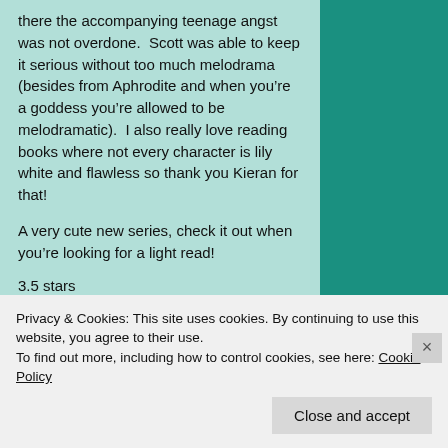there the accompanying teenage angst was not overdone.  Scott was able to keep it serious without too much melodrama (besides from Aphrodite and when you're a goddess you're allowed to be melodramatic).  I also really love reading books where not every character is lily white and flawless so thank you Kieran for that!
A very cute new series, check it out when you're looking for a light read!
3.5 stars
4 COMMENTS   LEAVE A COMMENT
Privacy & Cookies: This site uses cookies. By continuing to use this website, you agree to their use.
To find out more, including how to control cookies, see here: Cookie Policy